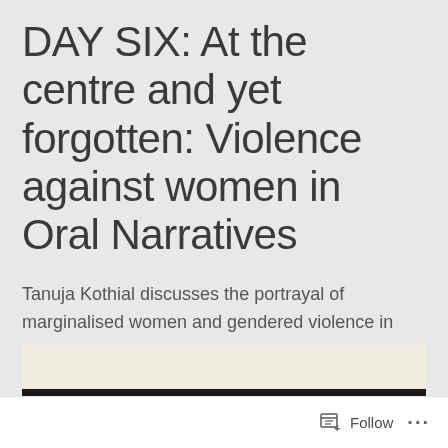DAY SIX: At the centre and yet forgotten: Violence against women in Oral Narratives
Tanuja Kothial discusses the portrayal of marginalised women and gendered violence in oral narratives and Hindu epic literature.
[Figure (photo): Partial view of a book or document with a light beige cover and dark binding at the bottom, cropped at the bottom of the page.]
Follow ...